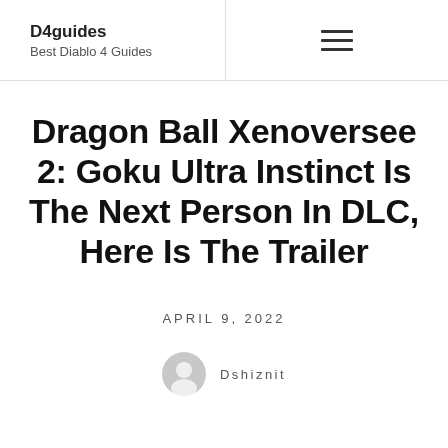D4guides Best Diablo 4 Guides
Dragon Ball Xenoversee 2: Goku Ultra Instinct Is The Next Person In DLC, Here Is The Trailer
April 9, 2022
Dshiznit